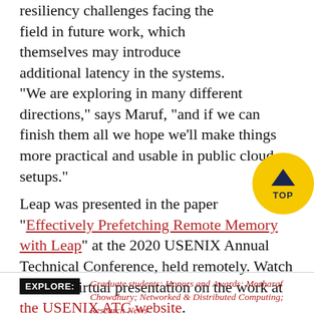resiliency challenges facing the field in future work, which themselves may introduce additional latency in the systems.
“We are exploring in many different directions,” says Maruf, “and if we can finish them all we hope we’ll make things more practical and usable in public cloud setups.”
[Figure (other): Yellow circular TOP button with dark navy chevron/caret upward arrow and text TOP]
Leap was presented in the paper “Effectively Prefetching Remote Memory with Leap” at the 2020 USENIX Annual Technical Conference, held remotely. Watch Maruf’s virtual presentation on the work at the USENIX ATC website.
EXPLORE: Graduate students; Honors and Awards; Mosharaf Chowdhury; Networked & Distributed Computing; Research News